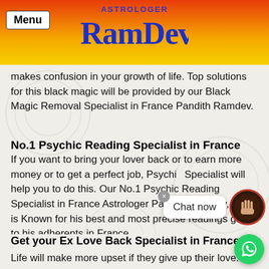Menu | ASTROLOGER RamDev
makes confusion in your growth of life. Top solutions for this black magic will be provided by our Black Magic Removal Specialist in France Pandith Ramdev.
No.1 Psychic Reading Specialist in France
If you want to bring your lover back or to earn more money or to get a perfect job, Psychic Specialist will help you to do this. Our No.1 Psychic Reading Specialist in France Astrologer Pandith Ramdev, who is Known for his best and most precise readings given to his adherents in France.
Get your Ex Love Back Specialist in France
Life will make more upset if they give up their love. Then they even think to finish their whole life itself. support is needed to solve this type of love issue. You